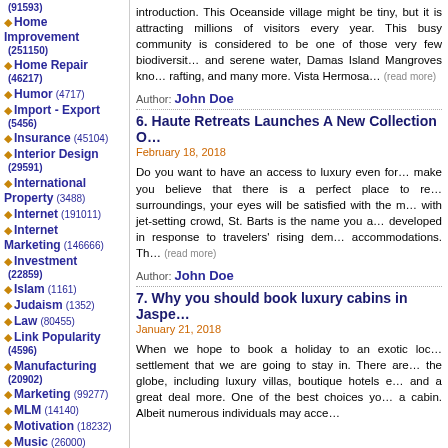(91593) Home Improvement (251150)
Home Repair (46217)
Humor (4717)
Import - Export (5456)
Insurance (45104)
Interior Design (29591)
International Property (3488)
Internet (191011)
Internet Marketing (146666)
Investment (22859)
Islam (1161)
Judaism (1352)
Law (80455)
Link Popularity (4596)
Manufacturing (20902)
Marketing (99277)
MLM (14140)
Motivation (18232)
Music (26000)
introduction. This Oceanside village might be tiny, but it is attracting millions of visitors every year. This bustling community is considered to be one of those very few biodiversity... and serene water, Damas Island Mangroves known for rafting, and many more. Vista Hermosa... (read more)
Author: John Doe
6. Haute Retreats Launches A New Collection O...
February 18, 2018
Do you want to have an access to luxury even for... make you believe that there is a perfect place to relax... surroundings, your eyes will be satisfied with the magic... with jet-setting crowd, St. Barts is the name you a... developed in response to travelers' rising dem... accommodations. Th... (read more)
Author: John Doe
7. Why you should book luxury cabins in Jaspe...
January 21, 2018
When we hope to book a holiday to an exotic loc... settlement that we are going to stay in. There are... the globe, including luxury villas, boutique hotels e... and a great deal more. One of the best choices yo... a cabin. Albeit numerous individuals may acce...